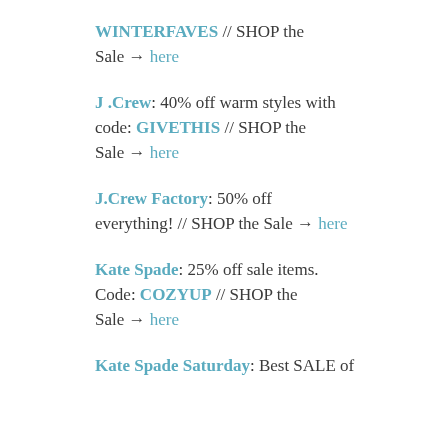WINTERFAVES // SHOP the Sale → here
J.Crew: 40% off warm styles with code: GIVETHIS // SHOP the Sale → here
J.Crew Factory: 50% off everything! // SHOP the Sale → here
Kate Spade: 25% off sale items. Code: COZYUP // SHOP the Sale → here
Kate Spade Saturday: Best SALE of